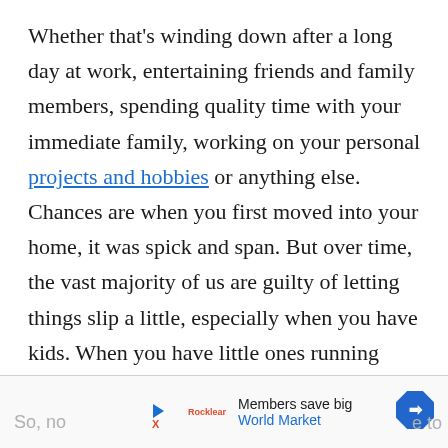Whether that's winding down after a long day at work, entertaining friends and family members, spending quality time with your immediate family, working on your personal projects and hobbies or anything else. Chances are when you first moved into your home, it was spick and span. But over time, the vast majority of us are guilty of letting things slip a little, especially when you have kids. When you have little ones running around, you're bound to find more mess and a little more chaos.
So, no... to